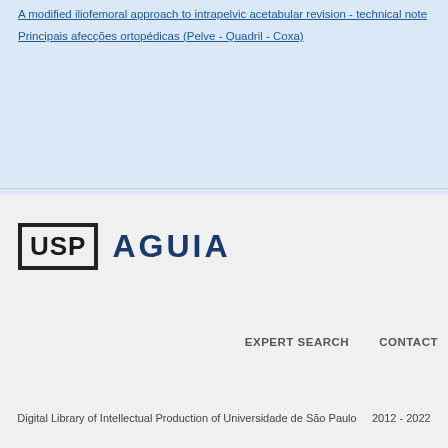A modified iliofemoral approach to intrapelvic acetabular revision - technical note
Principais afecções ortopédicas (Pelve - Quadril - Coxa)
[Figure (logo): USP AGUIA logo - USP in bold box followed by AGUIA text in dark blue]
EXPERT SEARCH
CONTACT
Digital Library of Intellectual Production of Universidade de São Paulo   2012 - 2022